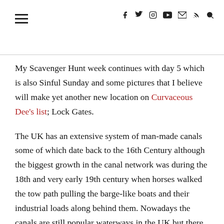[hamburger menu icon] [social icons: facebook, twitter, instagram, youtube, email, rss, search]
My Scavenger Hunt week continues with day 5 which is also Sinful Sunday and some pictures that I believe will make yet another new location on Curvaceous Dee’s list; Lock Gates.
The UK has an extensive system of man-made canals some of which date back to the 16th Century although the biggest growth in the canal network was during the 18th and very early 19th century when horses walked the tow path pulling the barge-like boats and their industrial loads along behind them. Nowadays the canals are still popular waterways in the UK but there industrial use is over and they provide an interesting and different way to explore the UK both by water and by foot.